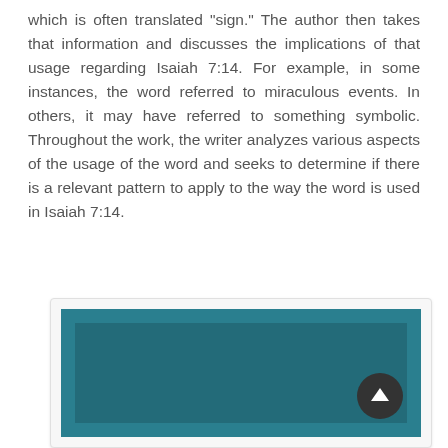which is often translated "sign." The author then takes that information and discusses the implications of that usage regarding Isaiah 7:14. For example, in some instances, the word referred to miraculous events. In others, it may have referred to something symbolic. Throughout the work, the writer analyzes various aspects of the usage of the word and seeks to determine if there is a relevant pattern to apply to the way the word is used in Isaiah 7:14.
[Figure (illustration): A teal/dark cyan decorative panel with a raised-border frame effect, with a dark circular back-to-top arrow button in the bottom-right corner.]